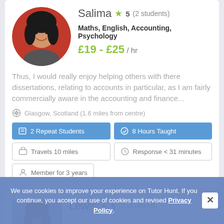[Figure (photo): Circular profile photo of Salima, a woman with dark hair, smiling, against a red background]
Salima ★ 5 (2 students)
Maths, English, Accounting, Psychology
£19 - £25 / hr
Thus, I would really enjoy helping others with there dissertations, relating to accounts in particular, as I am fairly commercially aware in the accounting and finance...
Glasgow, Scotland (1.6 miles from centre)
2 Repeat Students
8 Hours Taught
Travels 10 miles
Response < 31 minutes
Member for 3 years
[Figure (photo): Profile photo of Lewis, partially visible, with grey background]
Lewis ★ 5 (2 students)
We use cookies to improve your experience on Tutor Hunt. If you continue, you accept our use of cookies and revised Privacy Policy.